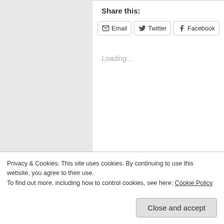Share this:
Email   Twitter   Facebook
Loading...
March 20, 2014
in educational, inspirational, personal development, self help, wisdom
Privacy & Cookies: This site uses cookies. By continuing to use this website, you agree to their use.
To find out more, including how to control cookies, see here: Cookie Policy
Close and accept